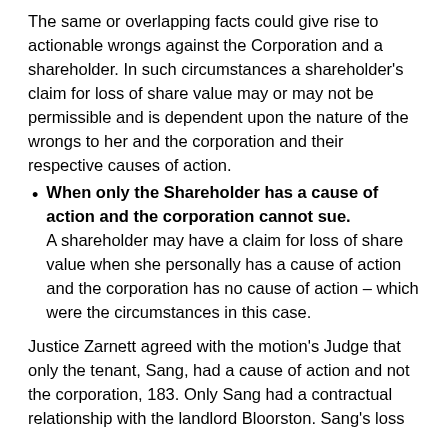The same or overlapping facts could give rise to actionable wrongs against the Corporation and a shareholder. In such circumstances a shareholder's claim for loss of share value may or may not be permissible and is dependent upon the nature of the wrongs to her and the corporation and their respective causes of action.
When only the Shareholder has a cause of action and the corporation cannot sue. A shareholder may have a claim for loss of share value when she personally has a cause of action and the corporation has no cause of action – which were the circumstances in this case.
Justice Zarnett agreed with the motion's Judge that only the tenant, Sang, had a cause of action and not the corporation, 183. Only Sang had a contractual relationship with the landlord Bloorston. Sang's loss